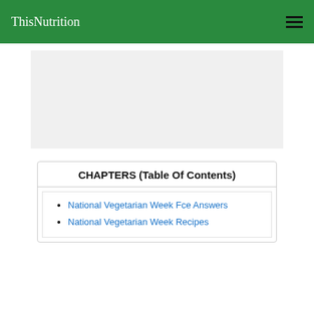ThisNutrition
[Figure (other): Gray advertisement placeholder block]
CHAPTERS (Table Of Contents)
National Vegetarian Week Fce Answers
National Vegetarian Week Recipes